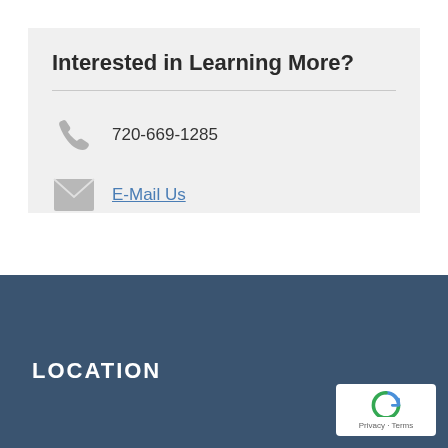Interested in Learning More?
720-669-1285
E-Mail Us
LOCATION